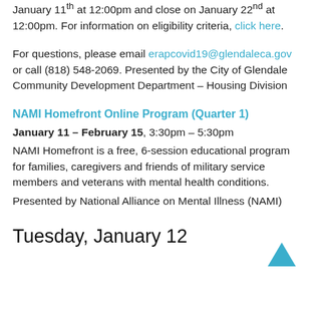January 11th at 12:00pm and close on January 22nd at 12:00pm. For information on eligibility criteria, click here.
For questions, please email erapcovid19@glendaleca.gov or call (818) 548-2069. Presented by the City of Glendale Community Development Department – Housing Division
NAMI Homefront Online Program (Quarter 1)
January 11 – February 15, 3:30pm – 5:30pm
NAMI Homefront is a free, 6-session educational program for families, caregivers and friends of military service members and veterans with mental health conditions.
Presented by National Alliance on Mental Illness (NAMI)
Tuesday, January 12